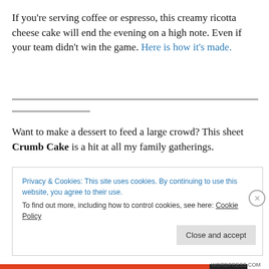If you're serving coffee or espresso, this creamy ricotta cheese cake will end the evening on a high note. Even if your team didn't win the game. Here is how it's made.
Want to make a dessert to feed a large crowd? This sheet Crumb Cake is a hit at all my family gatherings.
Privacy & Cookies: This site uses cookies. By continuing to use this website, you agree to their use. To find out more, including how to control cookies, see here: Cookie Policy